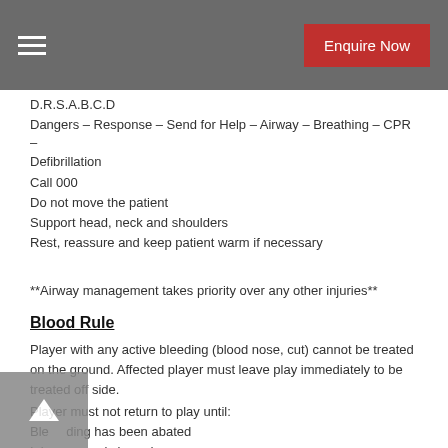Enquire Now
D.R.S.A.B.C.D
Dangers – Response – Send for Help – Airway – Breathing – CPR – Defibrillation
Call 000
Do not move the patient
Support head, neck and shoulders
Rest, reassure and keep patient warm if necessary
**Airway management takes priority over any other injuries**
Blood Rule
Player with any active bleeding (blood nose, cut) cannot be treated on the ground. Affected player must leave play immediately to be treated off side.
Player must not return to play until:
Bleeding has been abated
Injury securely bound
Blood stained clothing washed